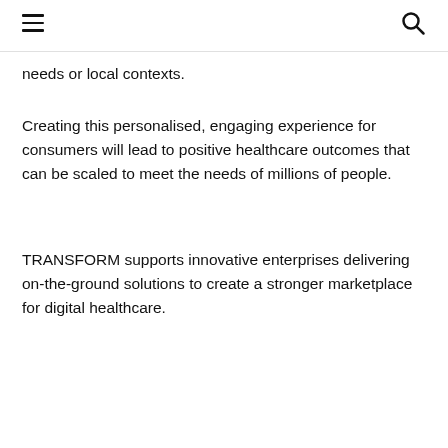needs or local contexts.
Creating this personalised, engaging experience for consumers will lead to positive healthcare outcomes that can be scaled to meet the needs of millions of people.
TRANSFORM supports innovative enterprises delivering on-the-ground solutions to create a stronger marketplace for digital healthcare.